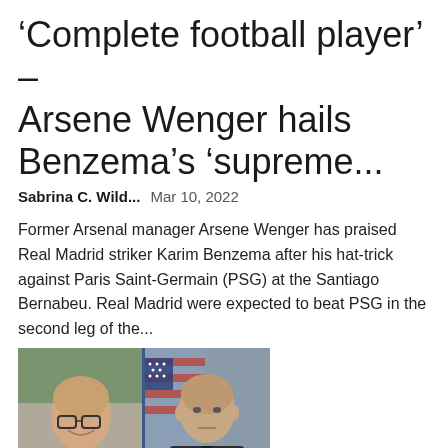‘Complete football player’ – Arsene Wenger hails Benzema’s ‘supreme...
Sabrina C. Wild...    Mar 10, 2022
Former Arsenal manager Arsene Wenger has praised Real Madrid striker Karim Benzema after his hat-trick against Paris Saint-Germain (PSG) at the Santiago Bernabeu. Real Madrid were expected to beat PSG in the second leg of the...
[Figure (photo): Two side-by-side photos: left shows a smiling bald man with glasses wearing a grey zip-up hoodie; right shows a bald man in a dark police uniform standing in front of an American flag.]
Accused Kansas school shooter...